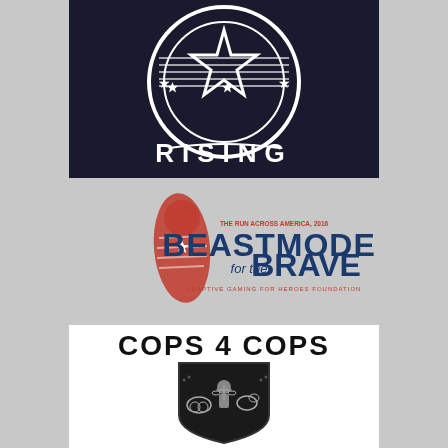[Figure (logo): Dark circular logo with a star and stripes design, text reading RISING at the bottom in white on black background]
[Figure (logo): BeastMode for the Brave logo featuring a red boot print with star design, blue bold text reading BEASTMODE for the BRAVE, THE RUN ACROSS AMERICA 2016 and ADAPTIVE GAMING FOR HEROES FOUNDATION in small text]
[Figure (logo): COPS 4 COPS logo with black shield containing police-themed imagery including motorcycle, officer, and K9 dog, bold black text COPS 4 COPS above on white background]